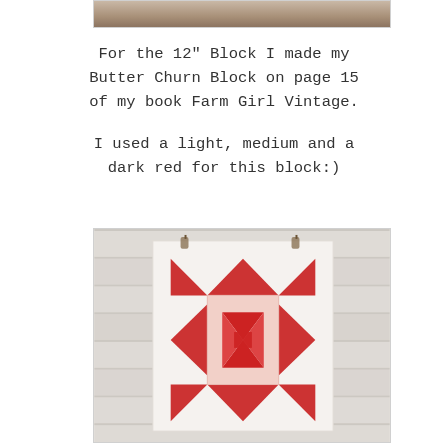[Figure (photo): Top portion of a photo showing a wooden plank surface, partially cropped]
For the 12" Block I made my Butter Churn Block on page 15 of my book Farm Girl Vintage.
I used a light, medium and a dark red for this block:)
[Figure (photo): Photo of a red and white Butter Churn quilt block hanging on a whitewashed wooden wall. The block features red triangles forming a pinwheel in the center, surrounded by a light pink dotted frame, with large red triangles at each corner forming a star/diamond pattern.]